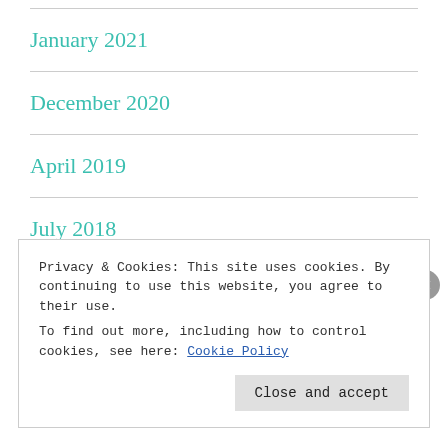January 2021
December 2020
April 2019
July 2018
January 2018
Privacy & Cookies: This site uses cookies. By continuing to use this website, you agree to their use.
To find out more, including how to control cookies, see here: Cookie Policy
Close and accept